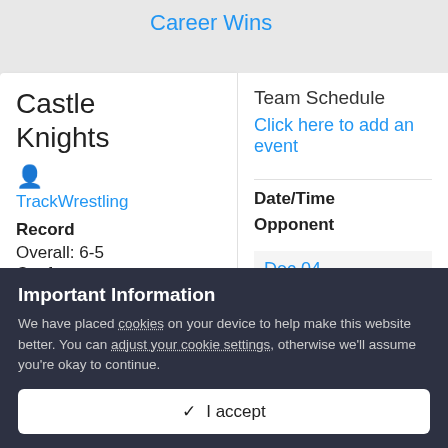Career Wins
Castle Knights
TrackWrestling
Record
Overall: 6-5
Conference:
Team Schedule
Click here to add an event
Date/Time
Opponent
Dec 04
Important Information
We have placed cookies on your device to help make this website better. You can adjust your cookie settings, otherwise we'll assume you're okay to continue.
I accept